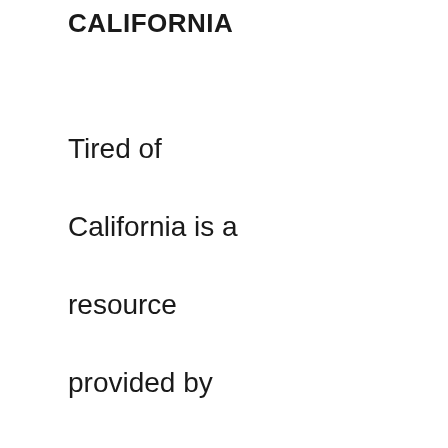CALIFORNIA
Tired of California is a resource provided by The Klaus Team with Keller Williams Integrity First Realty in Mesa, Arizona. Each office is